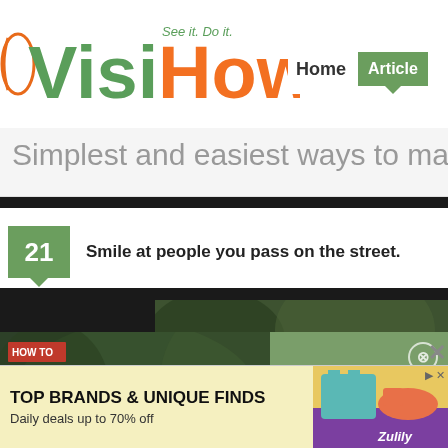[Figure (logo): VisiHow logo with tagline 'See it. Do it.' in green and orange colors]
Home   Articles
Simplest and easiest ways to make
21  Smile at people you pass on the street.
[Figure (screenshot): How to Paint Wood Furniture video panel showing two chairs in garden setting with play button overlay and green info panel]
[Figure (photo): Background photo showing blurred outdoor scene]
[Figure (infographic): Advertisement banner: TOP BRANDS & UNIQUE FINDS - Daily deals up to 70% off - Zulily]